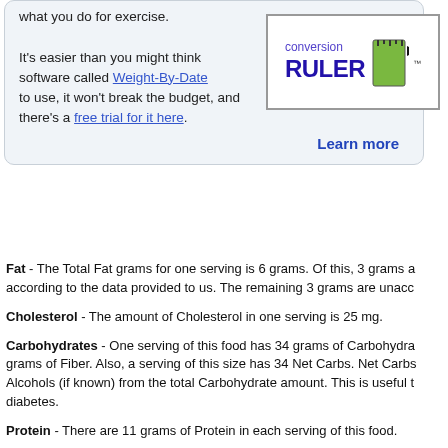what you do for exercise.

It's easier than you might think software called Weight-By-Date to use, it won't break the budget, and there's a free trial for it here.

Learn more
[Figure (logo): Conversion Ruler logo with green ruler icon and purple text]
Fat - The Total Fat grams for one serving is 6 grams. Of this, 3 grams a according to the data provided to us. The remaining 3 grams are unacc
Cholesterol - The amount of Cholesterol in one serving is 25 mg.
Carbohydrates - One serving of this food has 34 grams of Carbohydra grams of Fiber. Also, a serving of this size has 34 Net Carbs. Net Carbs Alcohols (if known) from the total Carbohydrate amount. This is useful t diabetes.
Protein - There are 11 grams of Protein in each serving of this food.
Minerals - There are 0.36 mg of Iron and 300 mg of Calcium in each se contains 150 mg of Sodium.
Vitamins - This food has Vitamin A, but doesn't have a significant amo International Units of Vitamin A.